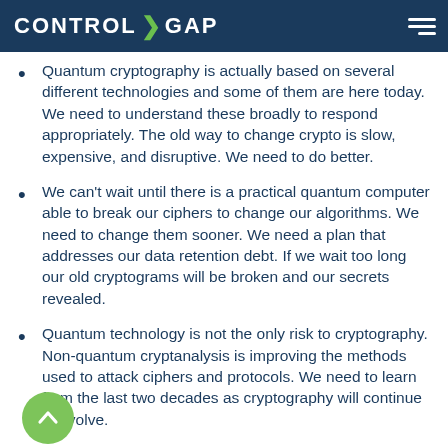CONTROL GAP
Quantum cryptography is actually based on several different technologies and some of them are here today. We need to understand these broadly to respond appropriately. The old way to change crypto is slow, expensive, and disruptive. We need to do better.
We can't wait until there is a practical quantum computer able to break our ciphers to change our algorithms. We need to change them sooner. We need a plan that addresses our data retention debt. If we wait too long our old cryptograms will be broken and our secrets revealed.
Quantum technology is not the only risk to cryptography. Non-quantum cryptanalysis is improving the methods used to attack ciphers and protocols. We need to learn from the last two decades as cryptography will continue to evolve.
Cryptographic change happens and in order to